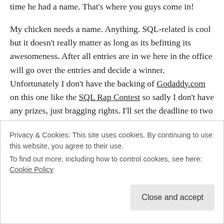time he had a name. That's where you guys come in!

My chicken needs a name. Anything. SQL-related is cool but it doesn't really matter as long as its befitting its awesomeness. After all entries are in we here in the office will go over the entries and decide a winner. Unfortunately I don't have the backing of Godaddy.com on this one like the SQL Rap Contest so sadly I don't have any prizes, just bragging rights. I'll set the deadline to two weeks from today (Friday June 12th). Feel free to submit entries here on this blog or DM them to me on Twitter.
Privacy & Cookies: This site uses cookies. By continuing to use this website, you agree to their use.
To find out more, including how to control cookies, see here: Cookie Policy
Studio